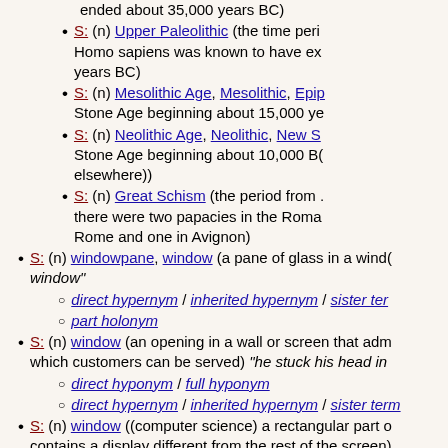ended about 35,000 years BC)
S: (n) Upper Paleolithic (the time peri... Homo sapiens was known to have ex... years BC)
S: (n) Mesolithic Age, Mesolithic, Epip... Stone Age beginning about 15,000 ye...
S: (n) Neolithic Age, Neolithic, New S... Stone Age beginning about 10,000 BC... elsewhere))
S: (n) Great Schism (the period from ... there were two papacies in the Roma... Rome and one in Avignon)
S: (n) windowpane, window (a pane of glass in a wind... window"
direct hypernym / inherited hypernym / sister ter...
part holonym
S: (n) window (an opening in a wall or screen that adm... which customers can be served) "he stuck his head in...
direct hyponym / full hyponym
direct hypernym / inherited hypernym / sister ter...
S: (n) window ((computer science) a rectangular part o... contains a display different from the rest of the screen)
S: (n) Windows ((trademark) an operating system with...